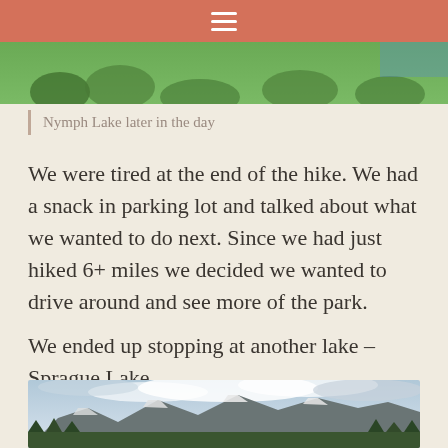Navigation bar with hamburger menu
[Figure (photo): Top portion of a nature/forest photo visible at the top of the page]
Nymph Lake later in the day
We were tired at the end of the hike. We had a snack in parking lot and talked about what we wanted to do next. Since we had just hiked 6+ miles we decided we wanted to drive around and see more of the park.
We ended up stopping at another lake – Sprague Lake.
[Figure (photo): Mountain landscape with cloudy sky, snow-capped peaks, forested foreground — Sprague Lake area in Rocky Mountain National Park]